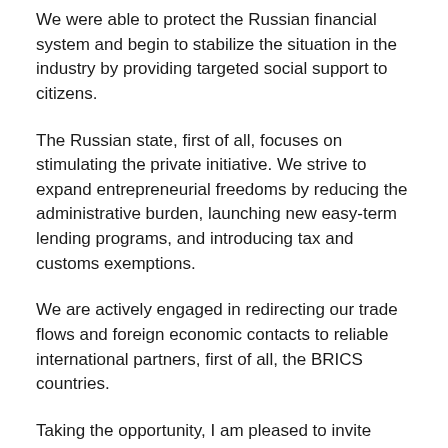We were able to protect the Russian financial system and begin to stabilize the situation in the industry by providing targeted social support to citizens.
The Russian state, first of all, focuses on stimulating the private initiative. We strive to expand entrepreneurial freedoms by reducing the administrative burden, launching new easy-term lending programs, and introducing tax and customs exemptions.
We are actively engaged in redirecting our trade flows and foreign economic contacts to reliable international partners, first of all, the BRICS countries.
Taking the opportunity, I am pleased to invite representatives of your states to the Eastern Economic Forum, which will be held in Vladivostok in early September, where many issues relevant to the BRICS business community will also be discussed.